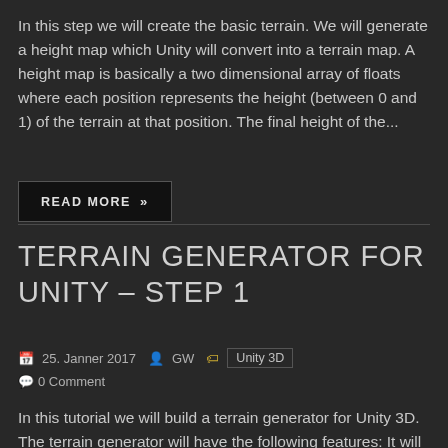In this step we will create the basic terrain. We will generate a height map which Unity will convert into a terrain map. A height map is basically a two dimensional array of floats where each position represents the height (between 0 and 1) of the terrain at that position. The final height of the...
READ MORE »
TERRAIN GENERATOR FOR UNITY – STEP 1
25. Janner 2017   GW   Unity 3D   0 Comment
In this tutorial we will build a terrain generator for Unity 3D. The terrain generator will have the following features: It will work in the editor